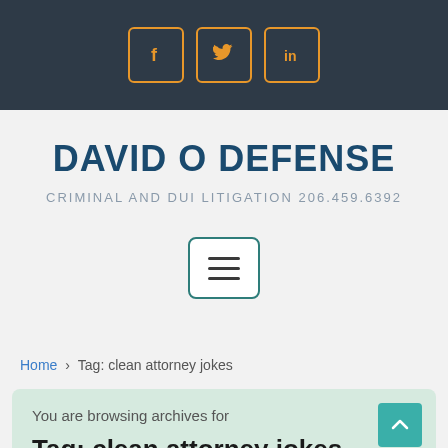[Figure (other): Dark top navigation bar with Facebook, Twitter, and LinkedIn social media icon buttons outlined in orange]
DAVID O DEFENSE
CRIMINAL AND DUI LITIGATION 206.459.6392
[Figure (other): Hamburger menu button with three horizontal lines, bordered with teal outline]
Home > Tag: clean attorney jokes
You are browsing archives for
Tag: clean attorney jokes